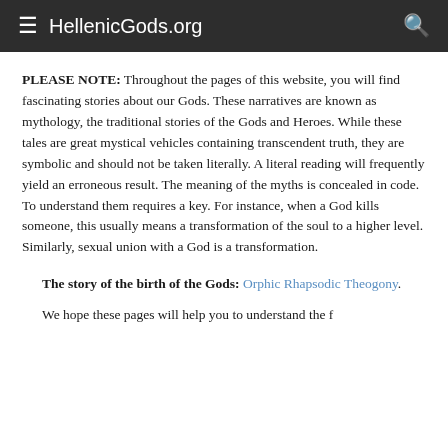HellenicGods.org
PLEASE NOTE: Throughout the pages of this website, you will find fascinating stories about our Gods. These narratives are known as mythology, the traditional stories of the Gods and Heroes. While these tales are great mystical vehicles containing transcendent truth, they are symbolic and should not be taken literally. A literal reading will frequently yield an erroneous result. The meaning of the myths is concealed in code. To understand them requires a key. For instance, when a God kills someone, this usually means a transformation of the soul to a higher level. Similarly, sexual union with a God is a transformation.
The story of the birth of the Gods: Orphic Rhapsodic Theogony.
We hope these pages will help you to understand the f…